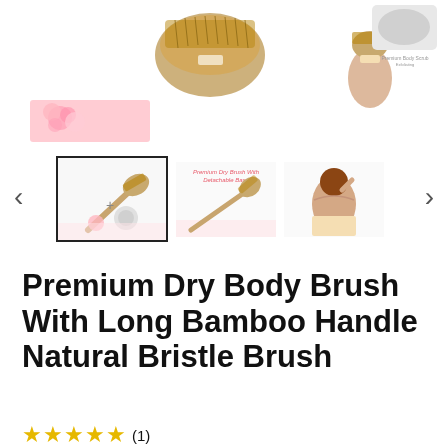[Figure (photo): Product image gallery for Premium Dry Body Brush showing multiple product views: main brush with natural bristles, hand holding brush, exfoliating scrub product, and thumbnail carousel with three images and navigation arrows]
Premium Dry Body Brush With Long Bamboo Handle Natural Bristle Brush
★★★★★ (1)